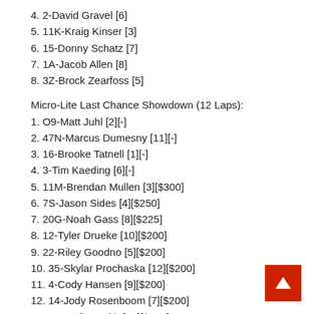4. 2-David Gravel [6]
5. 11K-Kraig Kinser [3]
6. 15-Donny Schatz [7]
7. 1A-Jacob Allen [8]
8. 3Z-Brock Zearfoss [5]
Micro-Lite Last Chance Showdown (12 Laps):
1. O9-Matt Juhl [2][-]
2. 47N-Marcus Dumesny [11][-]
3. 16-Brooke Tatnell [1][-]
4. 3-Tim Kaeding [6][-]
5. 11M-Brendan Mullen [3][$300]
6. 7S-Jason Sides [4][$250]
7. 20G-Noah Gass [8][$225]
8. 12-Tyler Drueke [10][$200]
9. 22-Riley Goodno [5][$200]
10. 35-Skylar Prochaska [12][$200]
11. 4-Cody Hansen [9][$200]
12. 14-Jody Rosenboom [7][$200]
13. O5-Colin Smith [14][$200]